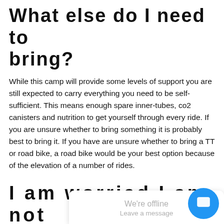What else do I need to bring?
While this camp will provide some levels of support you are still expected to carry everything you need to be self-sufficient. This means enough spare inner-tubes, co2 canisters and nutrition to get yourself through every ride. If you are unsure whether to bring something it is probably best to bring it. If you have are unsure whether to bring a TT or road bike, a road bike would be your best option because of the elevation of a number of rides.
I am worried I am not good enough to attend.
This is an inclusive camp which means we will have options for athletes of all levels. You are still expected
[Figure (other): Live chat widget overlay showing 'We're offline' and 'Leave a message' text, with a blue circular chat button in the bottom right corner.]